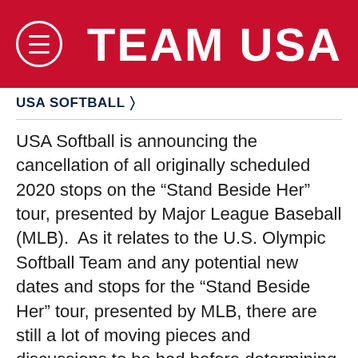TEAM USA
USA SOFTBALL >
USA Softball is announcing the cancellation of all originally scheduled 2020 stops on the “Stand Beside Her” tour, presented by Major League Baseball (MLB).  As it relates to the U.S. Olympic Softball Team and any potential new dates and stops for the “Stand Beside Her” tour, presented by MLB, there are still a lot of moving pieces and discussions to be had before determining appropriate next steps.
We understand the disappointment that may come with this decision, as the softball community has